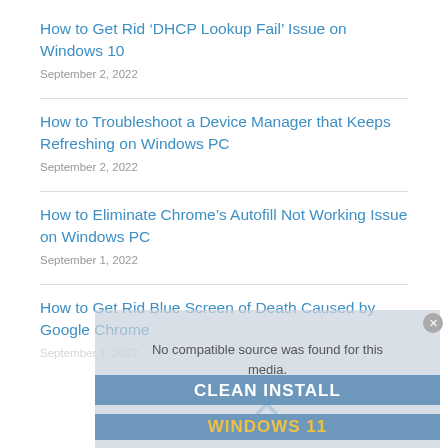How to Get Rid ‘DHCP Lookup Fail’ Issue on Windows 10
September 2, 2022
How to Troubleshoot a Device Manager that Keeps Refreshing on Windows PC
September 2, 2022
How to Eliminate Chrome’s Autofill Not Working Issue on Windows PC
September 1, 2022
How to Get Rid Blue Screen of Death Caused by Google Chrome
September 1, 2022
[Figure (screenshot): Video player overlay showing 'No compatible source was found for this media.' error with an X icon and CLEAN INSTALL WINDOWS 11 text]